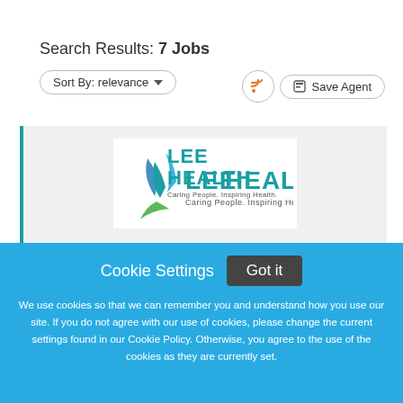Search Results: 7 Jobs
Sort By: relevance
[Figure (logo): Lee Health logo with blue and green leaf design and tagline 'Caring People. Inspiring Health.']
Cookie Settings
Got it
We use cookies so that we can remember you and understand how you use our site. If you do not agree with our use of cookies, please change the current settings found in our Cookie Policy. Otherwise, you agree to the use of the cookies as they are currently set.